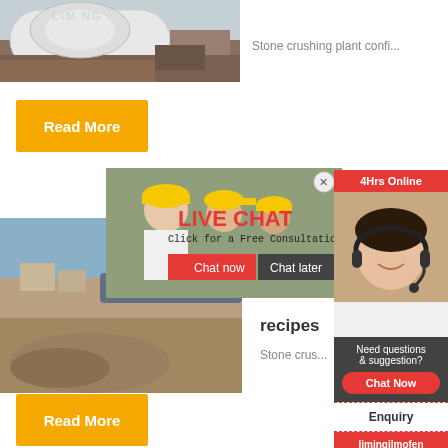[Figure (photo): Industrial machine (crusher/mill) with LIMING branding in a factory setting]
Stone crushing plant confi...
Read More
[Figure (photo): Stone crushing plant with crushed rock pile and conveyor belt]
[Figure (photo): Live Chat popup with workers in hard hats, LIVE CHAT heading, Chat now and Chat later buttons]
recipes
Stone crus...
Read More
[Figure (photo): Right sidebar with 24Hrs Online label, customer service representative with headset, Need questions & suggestion panel, Chat Now button, Enquiry link, limingjlmofen link]